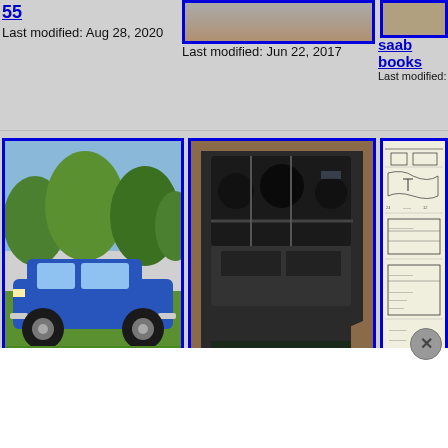55
Last modified: Aug 28, 2020
[Figure (photo): Top center image - partial car photo]
Last modified: Jun 22, 2017
saab books
Last modified: Nov 1,
[Figure (photo): Blue Saab car side view on green lawn]
side view
Last modified: Aug 23, 2020
[Figure (photo): 76EMS - engine bay photo from above, dark]
76EMS
Last modified: Aug 24, 2020
[Figure (photo): thermo - technical diagram/schematic page]
thermo
Last modified: Aug 25
[Figure (photo): Bottom left - round mechanical part close-up]
[Figure (photo): Bottom center - engine bay with yellow circle highlight]
[Figure (photo): Bottom right - dotted technical diagram]